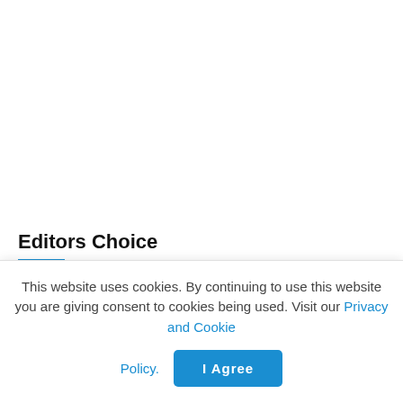Editors Choice
Romantic detail of Santiago Segura with Carmen Conesa and generous with Andrea
This website uses cookies. By continuing to use this website you are giving consent to cookies being used. Visit our Privacy and Cookie Policy.
I Agree